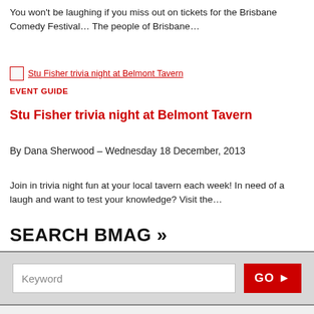You won't be laughing if you miss out on tickets for the Brisbane Comedy Festival… The people of Brisbane…
[Figure (photo): Image placeholder: Stu Fisher trivia night at Belmont Tavern]
EVENT GUIDE
Stu Fisher trivia night at Belmont Tavern
By Dana Sherwood – Wednesday 18 December, 2013
Join in trivia night fun at your local tavern each week! In need of a laugh and want to test your knowledge? Visit the…
SEARCH BMAG »
Keyword
[Figure (screenshot): Bottom section with WIN with Bmag logo and image placeholder]